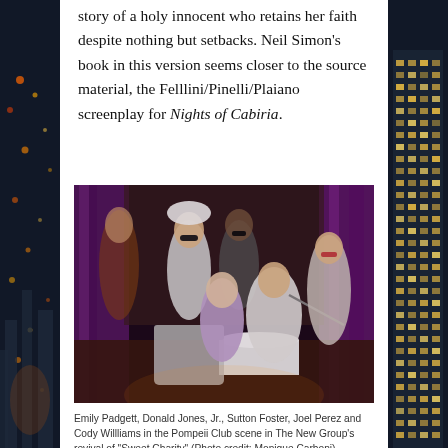story of a holy innocent who retains her faith despite nothing but setbacks. Neil Simon's book in this version seems closer to the source material, the Felllini/Pinelli/Plaiano screenplay for Nights of Cabiria.
[Figure (photo): Stage performance photo: Emily Padgett, Donald Jones Jr., Sutton Foster, Joel Perez and Cody Willliams in the Pompeii Club scene in The New Group's revival of Sweet Charity. Actors in white outfits on a purple-curtained stage set.]
Emily Padgett, Donald Jones, Jr., Sutton Foster, Joel Perez and Cody Willliams in the Pompeii Club scene in The New Group's revival of "Sweet Charity" (Photo credit: Monique Carboni).